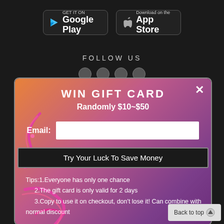[Figure (screenshot): Google Play store download button]
[Figure (screenshot): Apple App Store download button]
FOLLOW US
[Figure (infographic): Win Gift Card popup modal with gradient background (orange to purple). Contains title 'WIN GIFT CARD', subtitle 'Randomly $10~$50', email input field, 'Try Your Luck To Save Money' button, and tips listing three conditions for the gift card.]
WIN GIFT CARD
Randomly $10~$50
Email:
Try Your Luck To Save Money
Tips:1.Everyone has only one chance
2.The gift card is only valid for 2 days
3.Copy to use it on checkout, don't lose it! Can combine with normal discount